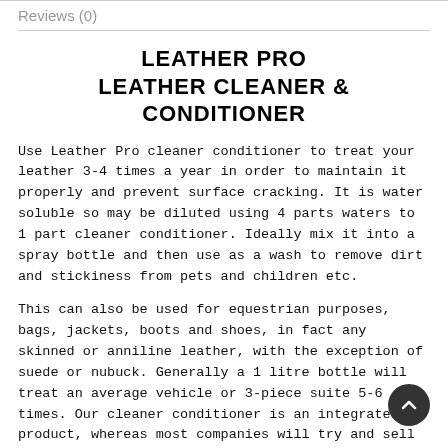Reviews (0)
LEATHER PRO
LEATHER CLEANER & CONDITIONER
Use Leather Pro cleaner conditioner to treat your leather 3-4 times a year in order to maintain it properly and prevent surface cracking. It is water soluble so may be diluted using 4 parts waters to 1 part cleaner conditioner. Ideally mix it into a spray bottle and then use as a wash to remove dirt and stickiness from pets and children etc.
This can also be used for equestrian purposes, bags, jackets, boots and shoes, in fact any skinned or anniline leather, with the exception of suede or nubuck. Generally a 1 litre bottle will treat an average vehicle or 3-piece suite 5-6 times. Our cleaner conditioner is an integrated product, whereas most companies will try and sell you 2-3 different products, we offer a unique all-in-one combination using a blend of liquid soaps and natural oils. It is chemical free with no glycerines, silicones or ammonia, which